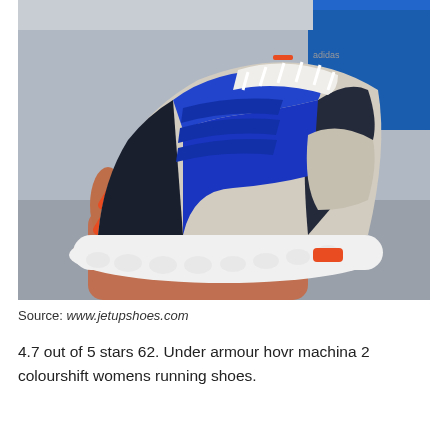[Figure (photo): A hand holding up an Adidas sneaker with blue mesh upper, three blue stripes, beige/grey suede overlays, white chunky boost sole with orange lightning bolt accent, and white laces. Blue shoe box visible in the background.]
Source: www.jetupshoes.com
4.7 out of 5 stars 62. Under armour hovr machina 2 colourshift womens running shoes.